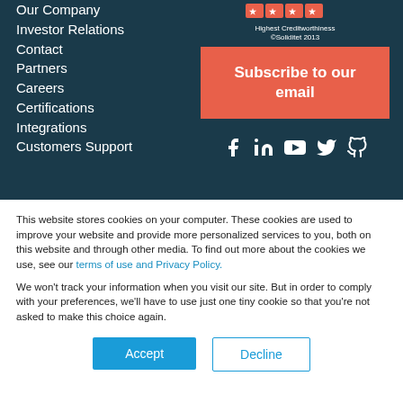Our Company
Investor Relations
Contact
Partners
Careers
Certifications
Integrations
Customers Support
[Figure (logo): Highest Creditworthiness badge - Soliditet 2013]
Subscribe to our email
[Figure (infographic): Social media icons: Facebook, LinkedIn, YouTube, Twitter, GitHub]
Resources
This website stores cookies on your computer. These cookies are used to improve your website and provide more personalized services to you, both on this website and through other media. To find out more about the cookies we use, see our terms of use and Privacy Policy.
We won't track your information when you visit our site. But in order to comply with your preferences, we'll have to use just one tiny cookie so that you're not asked to make this choice again.
Accept
Decline